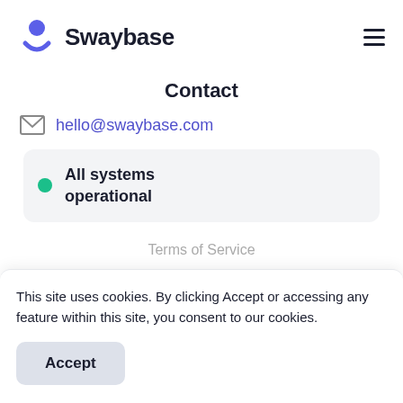Swaybase (logo + hamburger menu)
Contact
hello@swaybase.com
All systems operational
Terms of Service
This site uses cookies. By clicking Accept or accessing any feature within this site, you consent to our cookies.
Accept